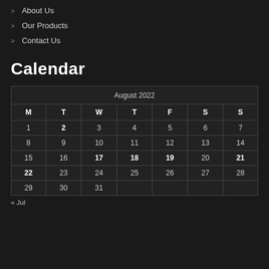> About Us
> Our Products
> Contact Us
Calendar
| M | T | W | T | F | S | S |
| --- | --- | --- | --- | --- | --- | --- |
| 1 | 2 | 3 | 4 | 5 | 6 | 7 |
| 8 | 9 | 10 | 11 | 12 | 13 | 14 |
| 15 | 16 | 17 | 18 | 19 | 20 | 21 |
| 22 | 23 | 24 | 25 | 26 | 27 | 28 |
| 29 | 30 | 31 |  |  |  |  |
« Jul